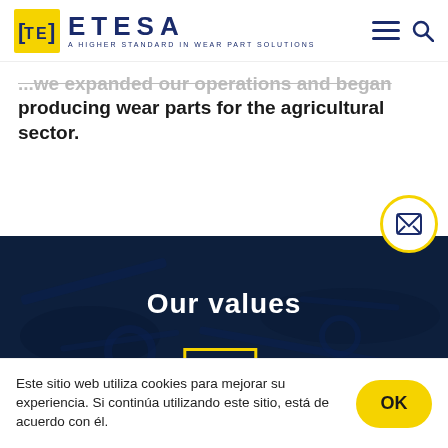ETESA — A Higher Standard In Wear Part Solutions
...we expanded our operations and began producing wear parts for the agricultural sector.
[Figure (screenshot): Dark blue background section with agricultural machinery, containing 'Our values' heading in white bold text and a yellow-bordered icon box at the bottom]
Este sitio web utiliza cookies para mejorar su experiencia. Si continúa utilizando este sitio, está de acuerdo con él.